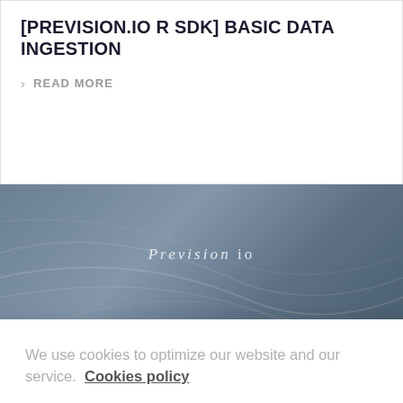[PREVISION.IO R SDK] BASIC DATA INGESTION
> READ MORE
[Figure (illustration): Blue-grey decorative banner with curved lines and Prevision.io logo text in italic]
We use cookies to optimize our website and our service.  Cookies policy
Refuse    Accept all
[PREVISION.IO R SDK] EXPERIMENT